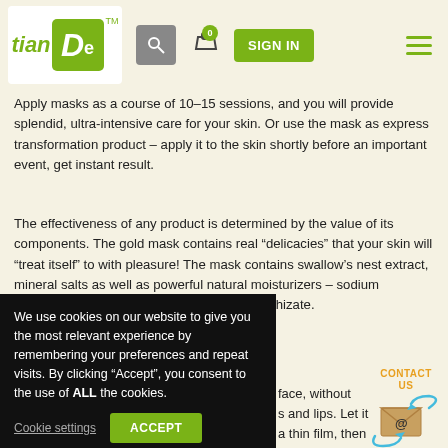[Figure (screenshot): TianDe website navigation bar with logo, search icon, cart, sign in button, and hamburger menu]
Apply masks as a course of 10-15 sessions, and you will provide splendid, ultra-intensive care for your skin. Or use the mask as express transformation product – apply it to the skin shortly before an important event, get instant result.
The effectiveness of any product is determined by the value of its components. The gold mask contains real “delicacies” that your skin will “treat itself” to with pleasure! The mask contains swallow’s nest extract, mineral salts as well as powerful natural moisturizers – sodium hyaluronate, betaine and dipotassium glycyrrhizate.
APPLICATION:
[Figure (screenshot): Cookie consent banner overlay on a dark product image strip. Banner reads: We use cookies on our website to give you the most relevant experience by remembering your preferences and repeat visits. By clicking “Accept”, you consent to the use of ALL the cookies. With Cookie settings link and ACCEPT button.]
face, without s and lips. Let it a thin film, then
[Figure (illustration): Contact Us widget with orange text and envelope icon with arrows]